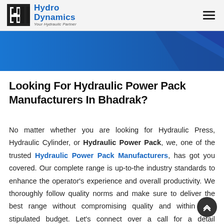Hydro Dynamics — Your Hydraulic Partner
[Figure (illustration): Blue banner header image with geometric shapes on the right side]
Looking For Hydraulic Power Pack Manufacturers In Bhadrak?
No matter whether you are looking for Hydraulic Press, Hydraulic Cylinder, or Hydraulic Power Pack, we, one of the trusted Hydraulic Power Pack Manufacturers, has got you covered. Our complete range is up-to-the industry standards to enhance the operator's experience and overall productivity. We thoroughly follow quality norms and make sure to deliver the best range without compromising quality and within your stipulated budget. Let's connect over a call for a detail discussion.